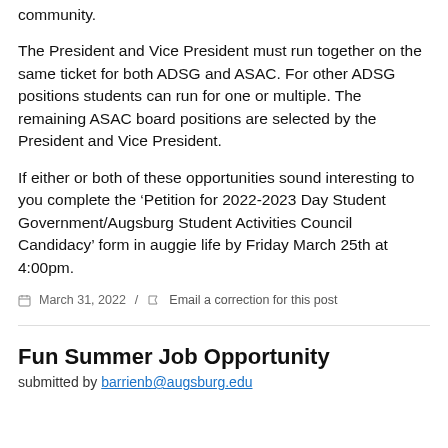community.
The President and Vice President must run together on the same ticket for both ADSG and ASAC. For other ADSG positions students can run for one or multiple. The remaining ASAC board positions are selected by the President and Vice President.
If either or both of these opportunities sound interesting to you complete the ‘Petition for 2022-2023 Day Student Government/Augsburg Student Activities Council Candidacy’ form in auggie life by Friday March 25th at 4:00pm.
March 31, 2022  /  Email a correction for this post
Fun Summer Job Opportunity
submitted by barrienb@augsburg.edu